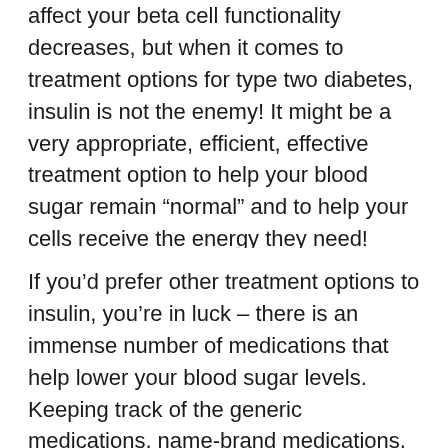affect your beta cell functionality decreases, but when it comes to treatment options for type two diabetes, insulin is not the enemy! It might be a very appropriate, efficient, effective treatment option to help your blood sugar remain “normal” and to help your cells receive the energy they need! Also, with the incredibly small needles available today, don’t let “needle phobia” prevent you from receiving the insulin you may need as the needles are relatively painless.
If you’d prefer other treatment options to insulin, you’re in luck – there is an immense number of medications that help lower your blood sugar levels. Keeping track of the generic medications, name-brand medications, or even the different classes of drugs can be